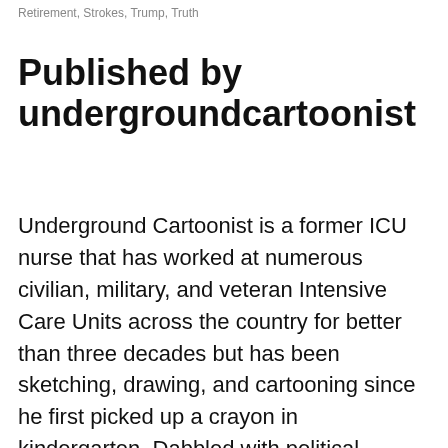Retirement, Strokes, Trump, Truth
Published by undergroundcartoonist
Underground Cartoonist is a former ICU nurse that has worked at numerous civilian, military, and veteran Intensive Care Units across the country for better than three decades but has been sketching, drawing, and cartooning since he first picked up a crayon in kindergarten. Dabbled with political cartooning, writing, and general illustrations but the bread and butter came from health care. Recently left professional nursing to concentrate on camping, hiking, nature, the outdoors, trees, trails, and peace of mind. Love a